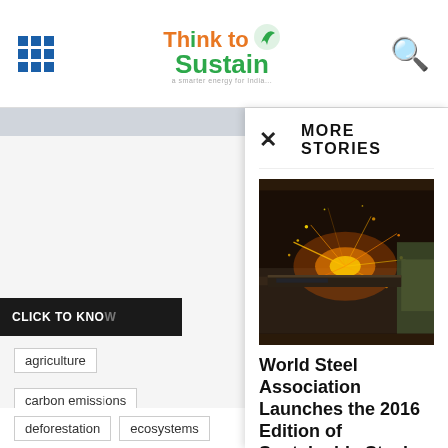Think to Sustain — navigation header with grid menu icon and search icon
[Figure (screenshot): More Stories overlay panel on ThinktoSustain website showing article: World Steel Association Launches the 2016 Edition of Sustainable Steel Policy, Sep 30 2016, with sparks/grinding image]
World Steel Association Launches the 2016 Edition of Sustainable Steel Policy
ThinktoSustain  -  Sep 30, 2016   0
agriculture
carbon emissions
climate change
conservation
deforestation
ecosystems